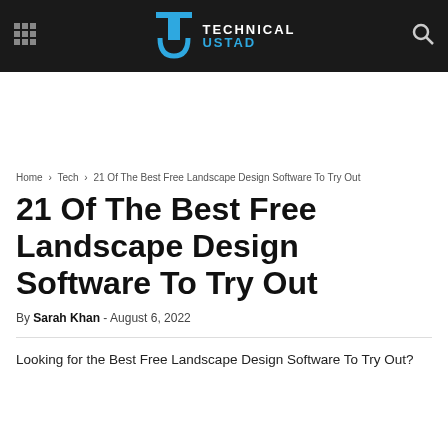Technical Ustad
Home › Tech › 21 Of The Best Free Landscape Design Software To Try Out
21 Of The Best Free Landscape Design Software To Try Out
By Sarah Khan - August 6, 2022
Looking for the Best Free Landscape Design Software To Try Out?